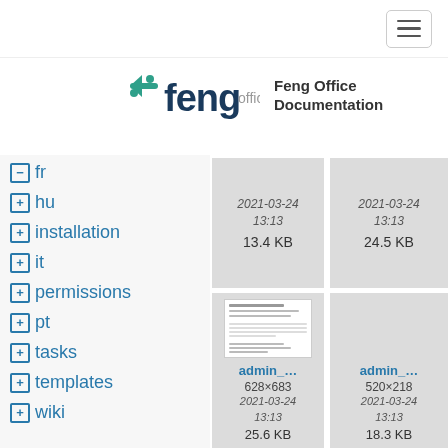Feng Office Documentation
- fr
+ hu
+ installation
+ it
+ permissions
+ pt
+ tasks
+ templates
+ wiki
[Figure (screenshot): File card showing date 2021-03-24 13:13 and size 13.4 KB]
[Figure (screenshot): File card showing date 2021-03-24 13:13 and size 24.5 KB]
[Figure (screenshot): File card showing admin_ thumbnail, 628x683, 2021-03-24 13:13, 25.6 KB]
[Figure (screenshot): File card showing admin_ thumbnail, 520x218, 2021-03-24 13:13, 18.3 KB]